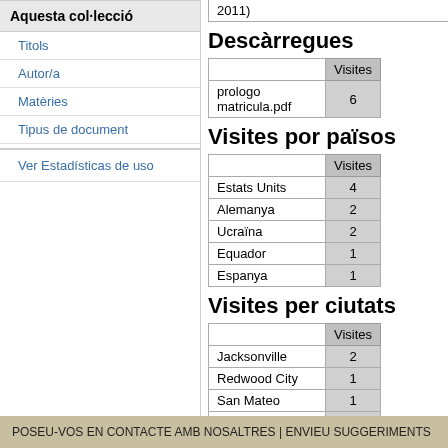2011)
Aquesta col·lecció
Titols
Autor/a
Matèries
Tipus de document
Ver Estadísticas de uso
Descàrregues
|  | Visites |
| --- | --- |
| prologo matricula.pdf | 6 |
Visites por països
|  | Visites |
| --- | --- |
| Estats Units | 4 |
| Alemanya | 2 |
| Ucraïna | 2 |
| Equador | 1 |
| Espanya | 1 |
Visites per ciutats
|  | Visites |
| --- | --- |
| Jacksonville | 2 |
| Redwood City | 1 |
| San Mateo | 1 |
| Sangolquí | 1 |
| Valencia | 1 |
POSEU-VOS EN CONTACTE AMB NOSALTRES | ENVIEU SUGGERIMENTS